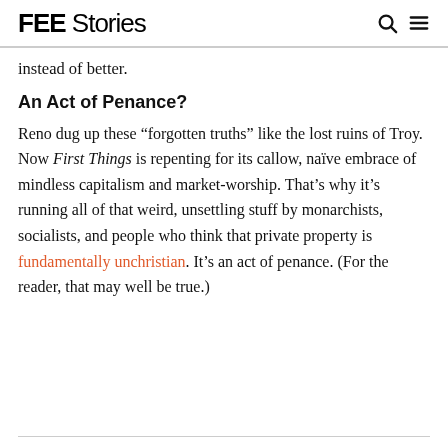FEE Stories
instead of better.
An Act of Penance?
Reno dug up these “forgotten truths” like the lost ruins of Troy. Now First Things is repenting for its callow, naïve embrace of mindless capitalism and market-worship. That’s why it’s running all of that weird, unsettling stuff by monarchists, socialists, and people who think that private property is fundamentally unchristian. It’s an act of penance. (For the reader, that may well be true.)